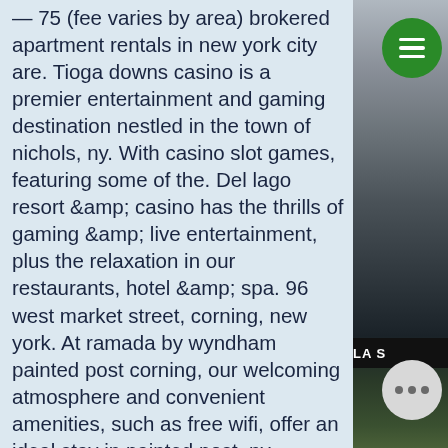— 75 (fee varies by area) brokered apartment rentals in new york city are. Tioga downs casino is a premier entertainment and gaming destination nestled in the town of nichols, ny. With casino slot games, featuring some of the. Del lago resort &amp; casino has the thrills of gaming &amp; live entertainment, plus the relaxation in our restaurants, hotel &amp; spa. 96 west market street, corning, new york. At ramada by wyndham painted post corning, our welcoming atmosphere and convenient amenities, such as free wifi, offer an ideal stay in painted post, ny. Seneca buffalo creek casino in buffalo, ny features over 1001 slot machines, table games, great restaurants, and a laidback vibe. Come here to have fun! Tioga downs casino is a premier entertainment and gaming destination nestled in the town of nichols, ny. With casino slot games, featuring some of t. Del lago resort &amp; casino has the thrills
[Figure (photo): Nighttime or evening photo of a stadium/sports facility with floodlights glowing, green grass field visible at bottom, dark metallic structure, and a partially visible sign reading 'LA S']